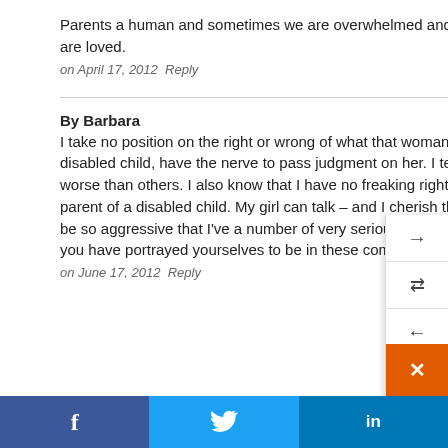Parents a human and sometimes we are overwhelmed and behave badly but we ALWAYS love our babies....you are loved.
on April 17, 2012  Reply
By Barbara
I take no position on the right or wrong of what that woman did. I'm just surprised that folks here who, like I, have a disabled child, have the nerve to pass judgment on her. I teach special ed and i know I have it easier than some, worse than others. I also know that I have no freaking right to even THINK I know what life is like for any other parent of a disabled child. My girl can talk – and I cherish that – except when her frontal lobe spiking causes her to be so aggressive that I've a number of very serious injuries from her. What a bunch of self-righteous people some of you have portrayed yourselves to be in these comments.
on June 17, 2012  Reply